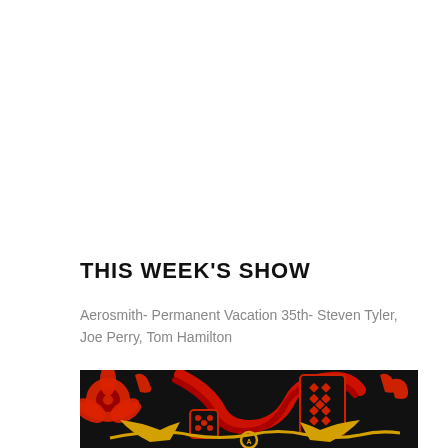THIS WEEK'S SHOW
Aerosmith- Permanent Vacation 35th- Steven Tyler, Joe Perry, Tom Hamilton
[Figure (illustration): Aerosmith album art detail showing red and black graphic design with hibiscus flowers, playing cards, dice, snake, and Aerosmith winged logo in yellow on black background]